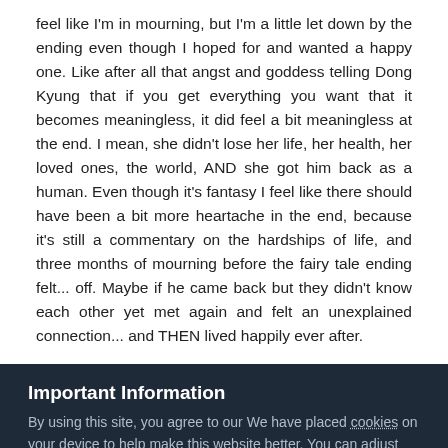feel like I'm in mourning, but I'm a little let down by the ending even though I hoped for and wanted a happy one. Like after all that angst and goddess telling Dong Kyung that if you get everything you want that it becomes meaningless, it did feel a bit meaningless at the end. I mean, she didn't lose her life, her health, her loved ones, the world, AND she got him back as a human. Even though it's fantasy I feel like there should have been a bit more heartache in the end, because it's still a commentary on the hardships of life, and three months of mourning before the fairy tale ending felt... off. Maybe if he came back but they didn't know each other yet met again and felt an unexplained connection... and THEN lived happily ever after.
Important Information
By using this site, you agree to our We have placed cookies on your device to help make this website better. You can adjust your cookie settings, otherwise we'll assume you're okay to continue..
✔ I accept